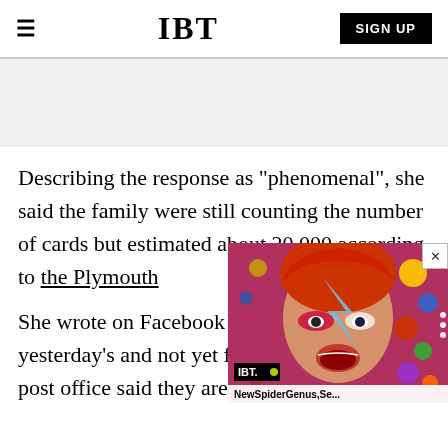IBT  SIGN UP
[Figure (other): Gray advertisement placeholder area]
Describing the response as "phenomenal", she said the family were still counting the number of cards but estimated about 20,000 according to the Plymouth
[Figure (other): Video overlay showing IBT news thumbnail with David Bowie-style face art and colorful background with caption 'NewSpiderGenus,Se...']
She wrote on Facebook on started on yesterday's and not yet finished Fridays!! The post office said they are still collecting."